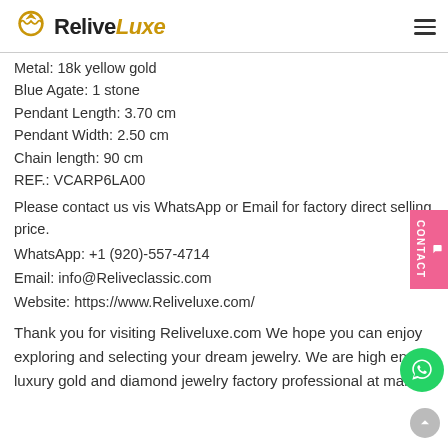ReliveLuxe
Metal: 18k yellow gold
Blue Agate: 1 stone
Pendant Length: 3.70 cm
Pendant Width: 2.50 cm
Chain length: 90 cm
REF.: VCARP6LA00
Please contact us vis WhatsApp or Email for factory direct selling price.
WhatsApp: +1 (920)-557-4714
Email: info@Reliveclassic.com
Website: https://www.Reliveluxe.com/
Thank you for visiting Reliveluxe.com We hope you can enjoy exploring and selecting your dream jewelry. We are high end luxury gold and diamond jewelry factory professional at making